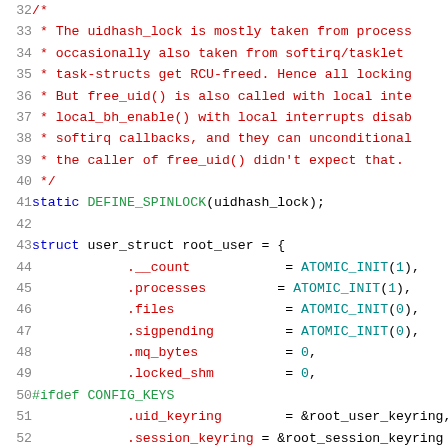[Figure (screenshot): Source code listing showing lines 32-52 of a C file with syntax highlighting. Lines show a block comment about uidhash_lock, a DEFINE_SPINLOCK call, and a struct user_struct root_user initialization with fields like __count, processes, files, sigpending, mq_bytes, locked_shm, uid_keyring, session_keyring.]